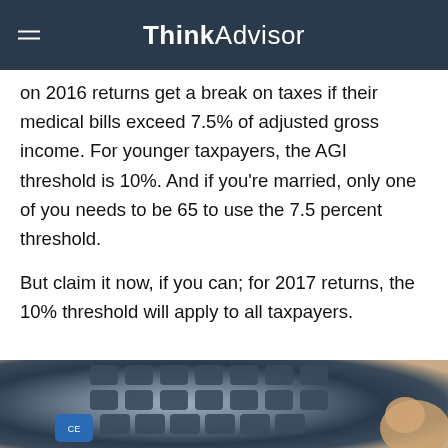ThinkAdvisor
on 2016 returns get a break on taxes if their medical bills exceed 7.5% of adjusted gross income. For younger taxpayers, the AGI threshold is 10%. And if you're married, only one of you needs to be 65 to use the 7.5 percent threshold.
But claim it now, if you can; for 2017 returns, the 10% threshold will apply to all taxpayers.
[Figure (photo): Close-up photo of a calculator with dark blue/grey keys being pressed by a finger]